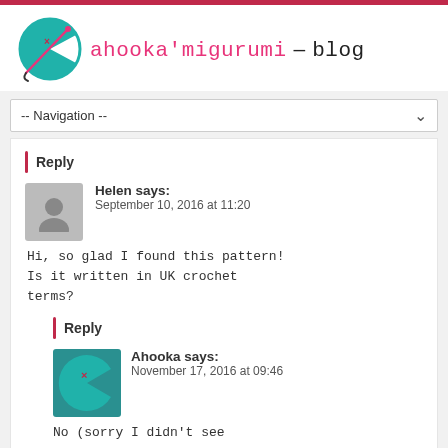ahooka'migurumi – blog
-- Navigation --
Reply
Helen says:
September 10, 2016 at 11:20
Hi, so glad I found this pattern! Is it written in UK crochet terms?
Reply
Ahooka says:
November 17, 2016 at 09:46
No (sorry I didn't see your comment earlier) it